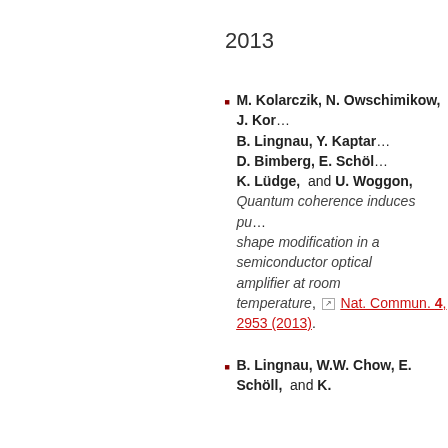2013
M. Kolarczik, N. Owschimikow, J. Kor…, B. Lingnau, Y. Kaptar…, D. Bimberg, E. Schöll…, K. Lüdge, and U. Woggon, Quantum coherence induces pu… shape modification in a semiconductor optical amplifier at room temperature, Nat. Commun. 4, 2953 (2013).
B. Lingnau, W.W. Chow, E. Schöll, and K.…